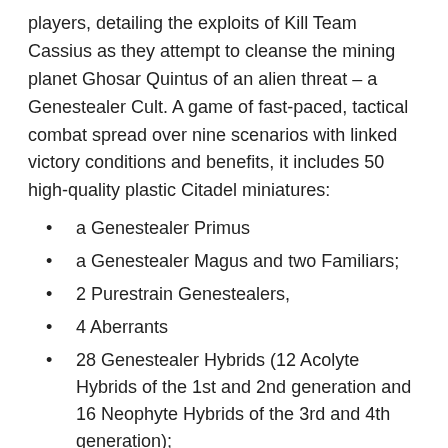players, detailing the exploits of Kill Team Cassius as they attempt to cleanse the mining planet Ghosar Quintus of an alien threat – a Genestealer Cult. A game of fast-paced, tactical combat spread over nine scenarios with linked victory conditions and benefits, it includes 50 high-quality plastic Citadel miniatures:
a Genestealer Primus
a Genestealer Magus and two Familiars;
2 Purestrain Genestealers,
4 Aberrants
28 Genestealer Hybrids (12 Acolyte Hybrids of the 1st and 2nd generation and 16 Neophyte Hybrids of the 3rd and 4th generation);
a massive Genestealer Patriarch;